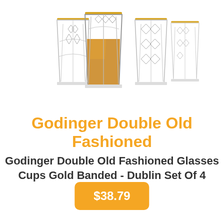[Figure (photo): Product photo showing four crystal whiskey glasses with gold banded rims arranged in a row, with one glass in the center filled with amber liquid (whiskey)]
Godinger Double Old Fashioned
Godinger Double Old Fashioned Glasses Cups Gold Banded - Dublin Set Of 4
$38.79